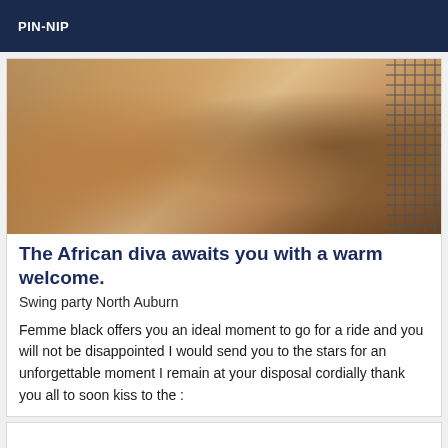PIN-NIP
[Figure (photo): Close-up photo of dark skin legs/body with a white background and a grid/grate visible on the right side]
The African diva awaits you with a warm welcome.
Swing party North Auburn
Femme black offers you an ideal moment to go for a ride and you will not be disappointed I would send you to the stars for an unforgettable moment I remain at your disposal cordially thank you all to soon kiss to the :